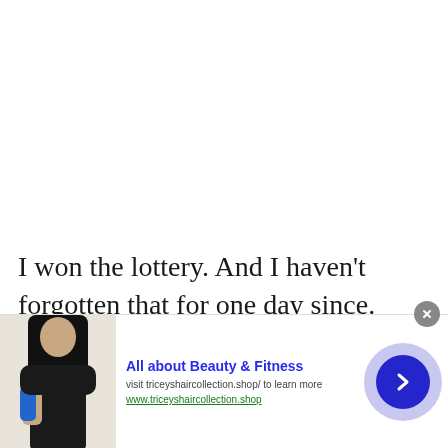I won the lottery. And I haven't forgotten that for one day since.
[Figure (infographic): Advertisement banner with a photo of a woman with long black hair holding a blue water bottle, ad title 'All about Beauty & Fitness', description text 'visit triceyshaircollection.shop/ to learn more', URL 'www.triceyshaircollection.shop', and a blue arrow button on a light purple circle background with a close X button.]